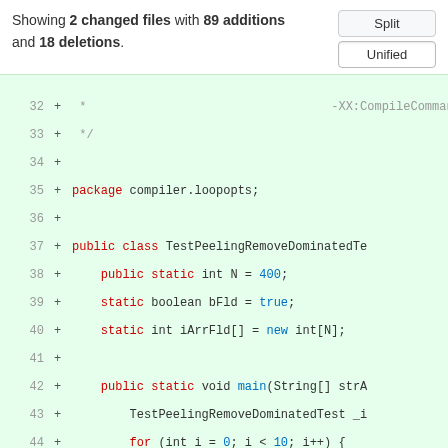Showing 2 changed files with 89 additions and 18 deletions.
[Figure (screenshot): Split/Unified toggle buttons in a GitHub-style diff view]
Code diff showing lines 32-49 of a Java file with added lines (package compiler.loopopts; public class TestPeelingRemoveDominatedTe... with fields N=400, bFld=true, iArrFld, main method with for loop)